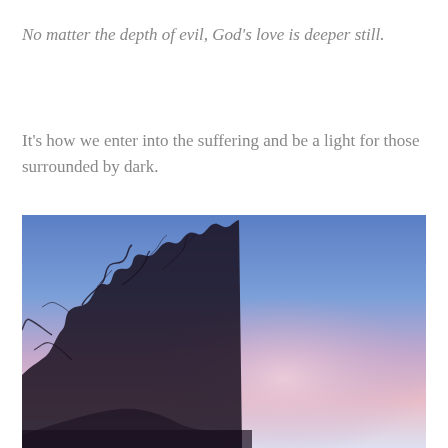No matter the depth of evil, God's love is deeper still.
It's how we enter into the suffering and be a light for those surrounded by dark.
[Figure (photo): A photograph of a twilight sky transitioning from deep blue at the top to soft pink and lavender in the middle, with bare winter tree silhouettes visible in the lower left corner against the colorful gradient sky.]